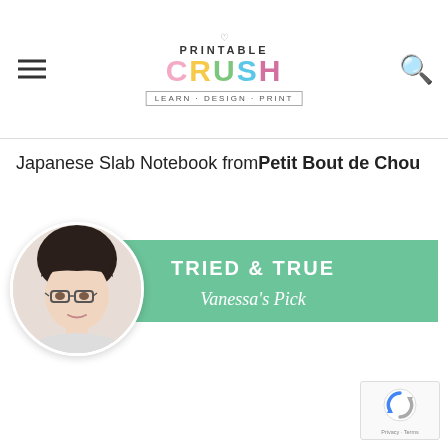PRINTABLE CRUSH — LEARN · DESIGN · PRINT
Japanese Slab Notebook from Petit Bout de Chou
[Figure (infographic): Circular photo of a woman with dark hair and glasses overlapping a green ribbon banner that reads 'TRIED & TRUE Vanessa's Pick']
[Figure (logo): reCAPTCHA badge with blue/grey circular arrow logo, Privacy + Terms text]